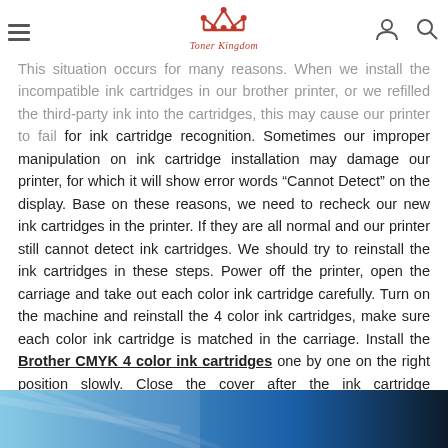[Figure (logo): Toner Kingdom logo with crown icon and text]
This situation occurs for many reasons. When we install the incompatible ink cartridges in our brother printer, or we refilled the third-party ink into the cartridges, this may cause our printer to fail for ink cartridge recognition. Sometimes our improper manipulation on ink cartridge installation may damage our printer, for which it will show error words “Cannot Detect” on the display. Base on these reasons, we need to recheck our new ink cartridges in the printer. If they are all normal and our printer still cannot detect ink cartridges. We should try to reinstall the ink cartridges in these steps. Power off the printer, open the carriage and take out each color ink cartridge carefully. Turn on the machine and reinstall the 4 color ink cartridges, make sure each color ink cartridge is matched in the carriage. Install the Brother CMYK 4 color ink cartridges one by one on the right position slowly. Close the cover after the ink cartridge installation, and tap on “yes” on the display screen task question.
[Figure (photo): Partial photo visible at bottom of page, appears to be a blue/grey toned image]